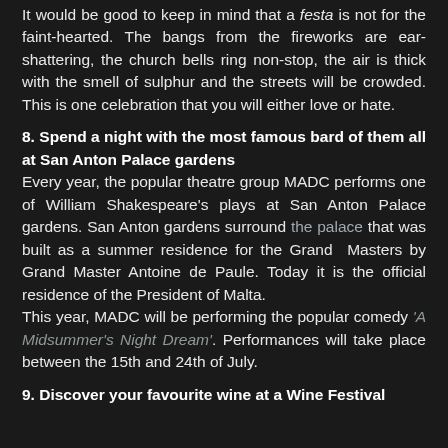It would be good to keep in mind that a festa is not for the faint-hearted. The bangs from the fireworks are ear-shattering, the church bells ring non-stop, the air is thick with the smell of sulphur and the streets will be crowded. This is one celebration that you will either love or hate.
8. Spend a night with the most famous bard of them all at San Anton Palace gardens
Every year, the popular theatre group MADC performs one of William Shakespeare's plays at San Anton Palace gardens. San Anton gardens surround the palace that was built as a summer residence for the Grand Masters by Grand Master Antoine de Paule. Today it is the official residence of the President of Malta.
This year, MADC will be performing the popular comedy 'A Midsummer's Night Dream'. Performances will take place between the 15th and 24th of July.
9. Discover your favourite wine at a Wine Festival